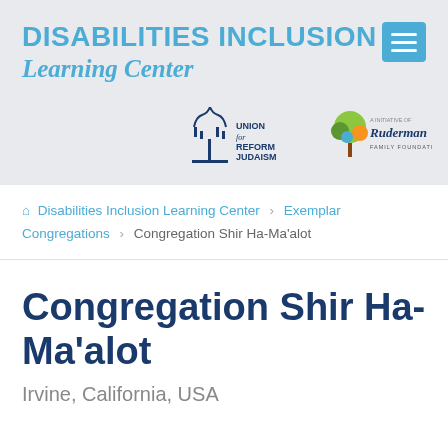DISABILITIES INCLUSION Learning Center
[Figure (logo): Union for Reform Judaism logo and Ruderman Family Foundation logo]
🏠 Disabilities Inclusion Learning Center > Exemplar Congregations > Congregation Shir Ha-Ma'alot
Congregation Shir Ha-Ma'alot
Irvine, California, USA